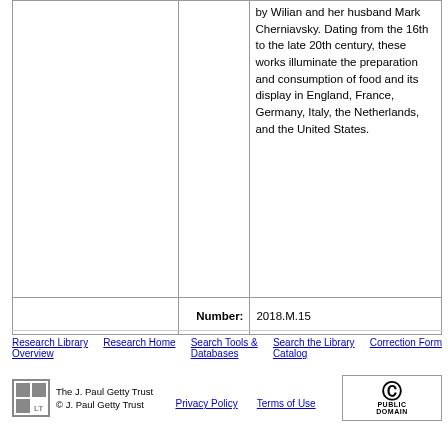by Wilian and her husband Mark Cherniavsky. Dating from the 16th to the late 20th century, these works illuminate the preparation and consumption of food and its display in England, France, Germany, Italy, the Netherlands, and the United States.
| Number: | 2018.M.15 |
| --- | --- |
Research Library Overview  Research Home  Search Tools & Databases  Search the Library Catalog  Correction Form
The J. Paul Getty Trust © J. Paul Getty Trust  Privacy Policy  Terms of Use